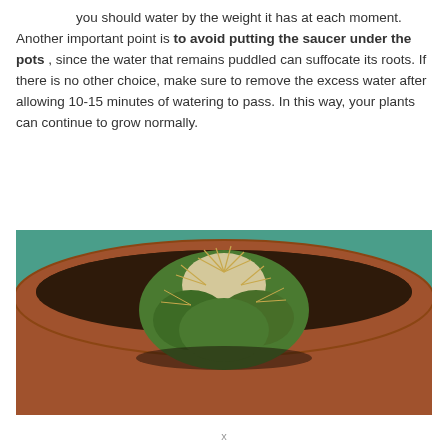you should water by the weight it has at each moment.

Another important point is to avoid putting the saucer under the pots , since the water that remains puddled can suffocate its roots. If there is no other choice, make sure to remove the excess water after allowing 10-15 minutes of watering to pass. In this way, your plants can continue to grow normally.
[Figure (photo): Close-up photo of a cactus plant in a terracotta pot against a teal/green background. The cactus has spines and is viewed from above/side angle.]
x